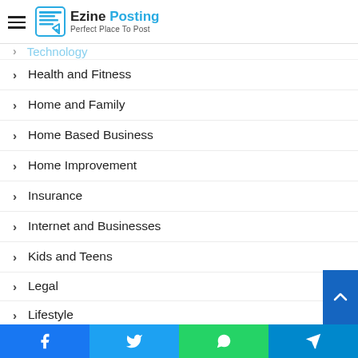Ezine Posting — Perfect Place To Post
Health and Fitness
Home and Family
Home Based Business
Home Improvement
Insurance
Internet and Businesses
Kids and Teens
Legal
Lifestyle
Medical
News and Society
Online Investing